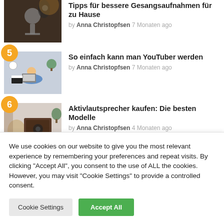Tipps für bessere Gesangsaufnahmen für zu Hause
by Anna Christopfsen 7 Monaten ago
[Figure (photo): Photo of a microphone in a recording studio setting]
So einfach kann man YouTuber werden
by Anna Christopfsen 7 Monaten ago
[Figure (photo): Overhead photo of a person at a desk with laptop and film clapperboard]
Aktivlautsprecher kaufen: Die besten Modelle
by Anna Christopfsen 4 Monaten ago
[Figure (photo): Photo of a speaker/audio equipment on a table]
We use cookies on our website to give you the most relevant experience by remembering your preferences and repeat visits. By clicking "Accept All", you consent to the use of ALL the cookies. However, you may visit "Cookie Settings" to provide a controlled consent.